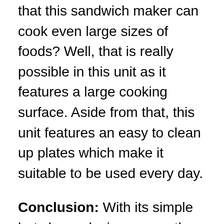that this sandwich maker can cook even large sizes of foods? Well, that is really possible in this unit as it features a large cooking surface. Aside from that, this unit features an easy to clean up plates which make it suitable to be used every day.
Conclusion: With its simple but classy design comes the functional nature of this sandwich maker from Chef Buddy. With its efficiency and capability in letting you cook your breakfast, this unit can be a good choice.
Pros: